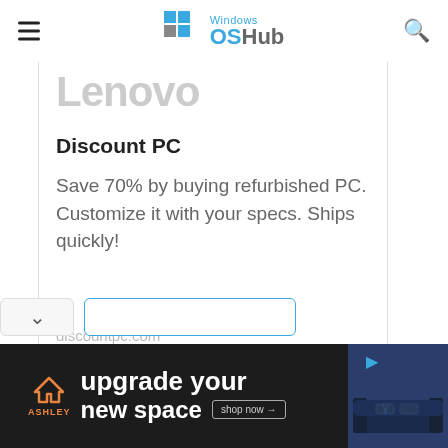Windows OSHub
Lenovo
Discount PC
Save 70% by buying refurbished PC. Customize it with your specs. Ships quickly!
discountpc.com
[Figure (screenshot): Ashley Furniture advertisement banner: 'upgrade your new space' with shop now button and sofa image]